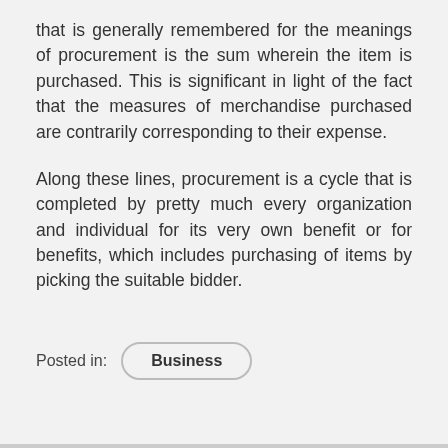that is generally remembered for the meanings of procurement is the sum wherein the item is purchased. This is significant in light of the fact that the measures of merchandise purchased are contrarily corresponding to their expense.
Along these lines, procurement is a cycle that is completed by pretty much every organization and individual for its very own benefit or for benefits, which includes purchasing of items by picking the suitable bidder.
Posted in:  Business